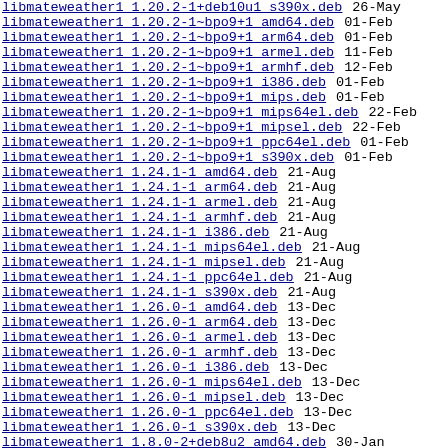libmateweather1 1.20.2-1+deb10u1 s390x.deb  26-May
libmateweather1 1.20.2-1~bpo9+1 amd64.deb  01-Feb
libmateweather1 1.20.2-1~bpo9+1 arm64.deb  01-Feb
libmateweather1 1.20.2-1~bpo9+1 armel.deb  11-Feb
libmateweather1 1.20.2-1~bpo9+1 armhf.deb  12-Feb
libmateweather1 1.20.2-1~bpo9+1 i386.deb  01-Feb
libmateweather1 1.20.2-1~bpo9+1 mips.deb  01-Feb
libmateweather1 1.20.2-1~bpo9+1 mips64el.deb  22-Feb
libmateweather1 1.20.2-1~bpo9+1 mipsel.deb  22-Feb
libmateweather1 1.20.2-1~bpo9+1 ppc64el.deb  01-Feb
libmateweather1 1.20.2-1~bpo9+1 s390x.deb  01-Feb
libmateweather1 1.24.1-1 amd64.deb  21-Aug
libmateweather1 1.24.1-1 arm64.deb  21-Aug
libmateweather1 1.24.1-1 armel.deb  21-Aug
libmateweather1 1.24.1-1 armhf.deb  21-Aug
libmateweather1 1.24.1-1 i386.deb  21-Aug
libmateweather1 1.24.1-1 mips64el.deb  21-Aug
libmateweather1 1.24.1-1 mipsel.deb  21-Aug
libmateweather1 1.24.1-1 ppc64el.deb  21-Aug
libmateweather1 1.24.1-1 s390x.deb  21-Aug
libmateweather1 1.26.0-1 amd64.deb  13-Dec
libmateweather1 1.26.0-1 arm64.deb  13-Dec
libmateweather1 1.26.0-1 armel.deb  13-Dec
libmateweather1 1.26.0-1 armhf.deb  13-Dec
libmateweather1 1.26.0-1 i386.deb  13-Dec
libmateweather1 1.26.0-1 mips64el.deb  13-Dec
libmateweather1 1.26.0-1 mipsel.deb  13-Dec
libmateweather1 1.26.0-1 ppc64el.deb  13-Dec
libmateweather1 1.26.0-1 s390x.deb  13-Dec
libmateweather1 1.8.0-2+deb8u2 amd64.deb  30-Jan